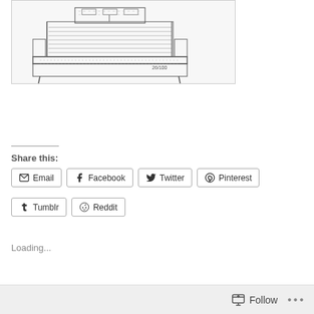[Figure (illustration): Pencil sketch illustration of a mechanical loom or desk machine, viewed from the front, showing structural framework and components. A handwritten notation '26/100' appears near the bottom right of the sketch.]
Share this:
Email  Facebook  Twitter  Pinterest  Tumblr  Reddit
Loading...
Follow  ...